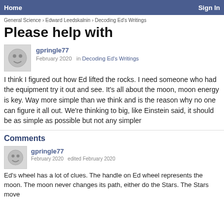Home | Sign In
General Science › Edward Leedskalnin › Decoding Ed's Writings
Please help with
gpringle77
February 2020  in Decoding Ed's Writings
I think I figured out how Ed lifted the rocks. I need someone who had the equipment try it out and see. It's all about the moon, moon energy is key. Way more simple than we think and is the reason why no one can figure it all out. We're thinking to big, like Einstein said, it should be as simple as possible but not any simpler
Comments
gpringle77
February 2020  edited February 2020
Ed's wheel has a lot of clues. The handle on Ed wheel represents the moon. The moon never changes its path, either do the Stars. The Stars move